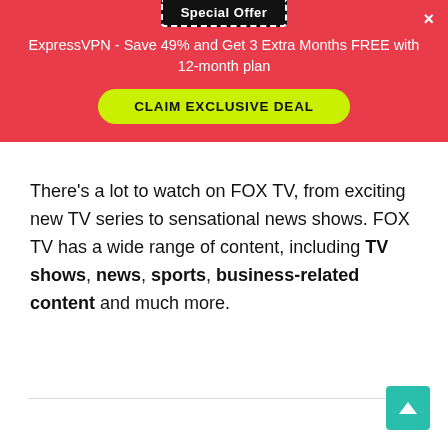[Figure (screenshot): Special Offer banner badge at top of red promotional strip]
ExpressVPN - Save 49% and Get 3 Extra Months FREE with 12-month plan
CLAIM EXCLUSIVE DEAL
There’s a lot to watch on FOX TV, from exciting new TV series to sensational news shows. FOX TV has a wide range of content, including TV shows, news, sports, business-related content and much more.